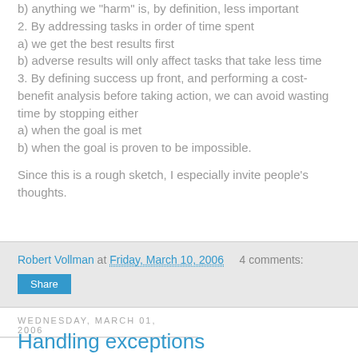a) the users are most likely to experience results
b) anything we "harm" is, by definition, less important
2. By addressing tasks in order of time spent
a) we get the best results first
b) adverse results will only affect tasks that take less time
3. By defining success up front, and performing a cost-benefit analysis before taking action, we can avoid wasting time by stopping either
a) when the goal is met
b) when the goal is proven to be impossible.
Since this is a rough sketch, I especially invite people's thoughts.
Robert Vollman at Friday, March 10, 2006    4 comments:
Share
Wednesday, March 01, 2006
Handling exceptions